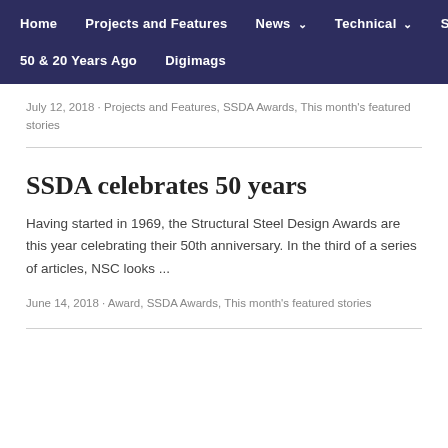Home | Projects and Features | News | Technical | SSDA | 50 & 20 Years Ago | Digimags
July 12, 2018 · Projects and Features, SSDA Awards, This month's featured stories
SSDA celebrates 50 years
Having started in 1969, the Structural Steel Design Awards are this year celebrating their 50th anniversary. In the third of a series of articles, NSC looks ...
June 14, 2018 · Award, SSDA Awards, This month's featured stories